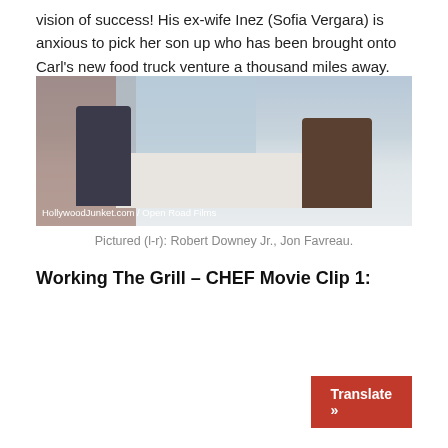vision of success! His ex-wife Inez (Sofia Vergara) is anxious to pick her son up who has been brought onto Carl's new food truck venture a thousand miles away.
[Figure (photo): Two men sitting in a modern living room with white tufted couch, brick wall, and decorative window panel in background. Watermark: HollywoodJunket.com / Open Road Films]
Pictured (l-r): Robert Downey Jr., Jon Favreau.
Working The Grill – CHEF Movie Clip 1: